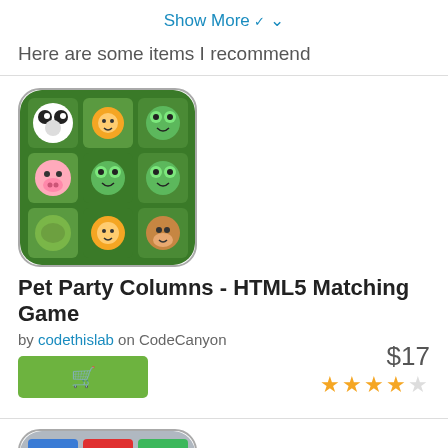Show More ▾
Here are some items I recommend
[Figure (screenshot): App icon for Pet Party Columns - HTML5 Matching Game, showing a 3x3 grid of cartoon animal faces (panda, lion, frog, pig, frog, frog, leaf, tiger, monkey) on a green background with rounded corners]
Pet Party Columns - HTML5 Matching Game
by codethislab on CodeCanyon
$17
★★★★½
[Figure (screenshot): App icon for a second game, showing a 3x3 grid of colorful tiles with symbols (numbers 9, musical note, ankh, cat silhouette, arrow, stone, 9, arrow) on colored backgrounds (blue, red, green, pink, yellow, tan, gray, red, green) with rounded corners]